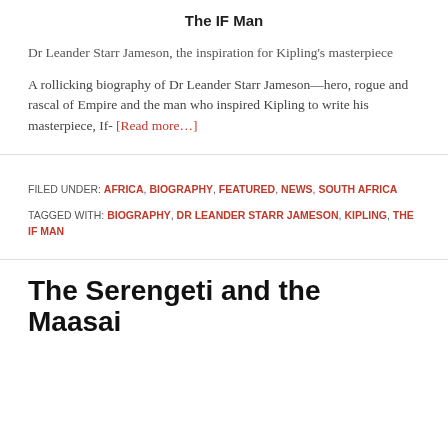The IF Man
Dr Leander Starr Jameson, the inspiration for Kipling's masterpiece
A rollicking biography of Dr Leander Starr Jameson—hero, rogue and rascal of Empire and the man who inspired Kipling to write his masterpiece, If- [Read more…]
FILED UNDER: AFRICA, BIOGRAPHY, FEATURED, NEWS, SOUTH AFRICA
TAGGED WITH: BIOGRAPHY, DR LEANDER STARR JAMESON, KIPLING, THE IF MAN
The Serengeti and the Maasai